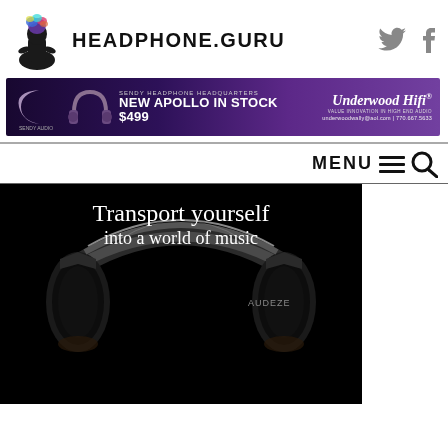[Figure (logo): Headphone.guru logo with meditating figure with colorful head splash and site name HEADPHONE.GURU in bold caps, plus Twitter and Facebook social icons]
[Figure (infographic): Purple gradient banner ad for Sendy Headphone Headquarters featuring New Apollo In Stock $499, Underwood HiFi branding, contact info underwoodwally@aol.com | 770.667.5633]
MENU
[Figure (photo): Audeze headphones on black background with white text overlay: Transport yourself into a world of music]